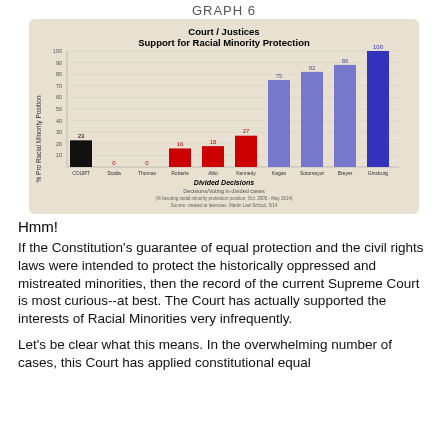GRAPH 6
[Figure (bar-chart): Court / Justices Support for Racial Minority Protection]
Hmm!
If the Constitution's guarantee of equal protection and the civil rights laws were intended to protect the historically oppressed and mistreated minorities, then the record of the current Supreme Court is most curious--at best. The Court has actually supported the interests of Racial Minorities very infrequently.
Let's be clear what this means. In the overwhelming number of cases, this Court has applied constitutional equal